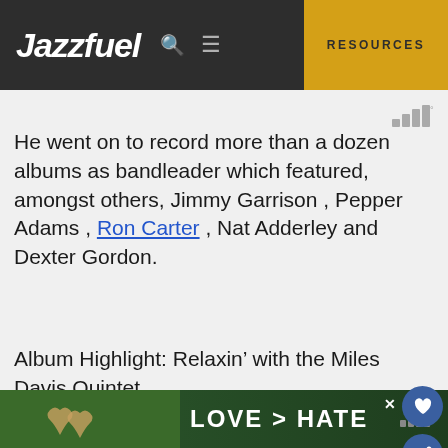Jazzfuel | RESOURCES
[Figure (screenshot): Deezer music streaming widget icon top right]
He went on to record more than a dozen albums as bandleader which featured, amongst others, Jimmy Garrison , Pepper Adams , Ron Carter , Nat Adderley and Dexter Gordon.
Album Highlight: Relaxin’ with the Miles Davis Quintet
[Figure (screenshot): Music player showing 'You're My Everything (Origin...' from 'RELAXIN' WITH THE MILES DAVIS QUINTET' with album art thumbnail]
[Figure (screenshot): Advertisement banner showing hands making heart shape with text 'LOVE > HATE' and Deezer icon, with X close button]